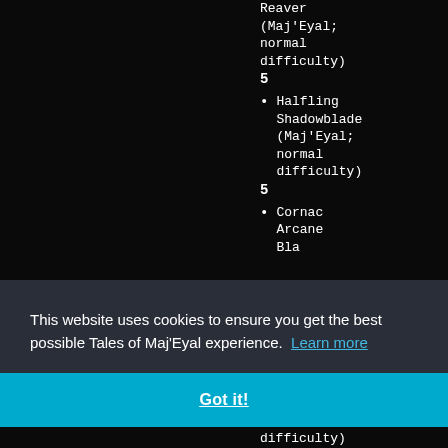Reaver (Maj'Eyal; normal difficulty) 5
Halfling Shadowblade (Maj'Eyal; normal difficulty) 5
Cornac Arcane Blade (partial, cut off)
This website uses cookies to ensure you get the best possible Tales of Maj'Eyal experience.  Learn more
Got it!
difficulty)